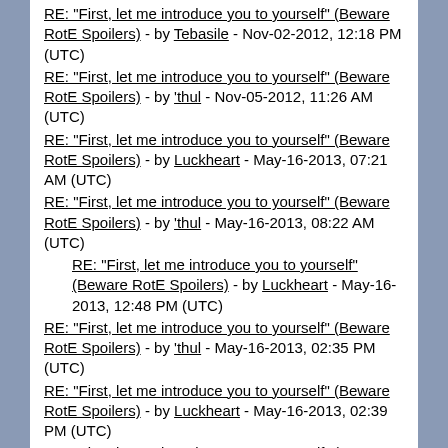RE: "First, let me introduce you to yourself" (Beware RotE Spoilers) - by Tebasile - Nov-02-2012, 12:18 PM (UTC)
RE: "First, let me introduce you to yourself" (Beware RotE Spoilers) - by 'thul - Nov-05-2012, 11:26 AM (UTC)
RE: "First, let me introduce you to yourself" (Beware RotE Spoilers) - by Luckheart - May-16-2013, 07:21 AM (UTC)
RE: "First, let me introduce you to yourself" (Beware RotE Spoilers) - by 'thul - May-16-2013, 08:22 AM (UTC)
RE: "First, let me introduce you to yourself" (Beware RotE Spoilers) - by Luckheart - May-16-2013, 12:48 PM (UTC) [indented]
RE: "First, let me introduce you to yourself" (Beware RotE Spoilers) - by 'thul - May-16-2013, 02:35 PM (UTC)
RE: "First, let me introduce you to yourself" (Beware RotE Spoilers) - by Luckheart - May-16-2013, 02:39 PM (UTC)
RE: "First, let me introduce you to yourself" (Beware RotE Spoilers) - by 'thul - May-16-2013, [continued]